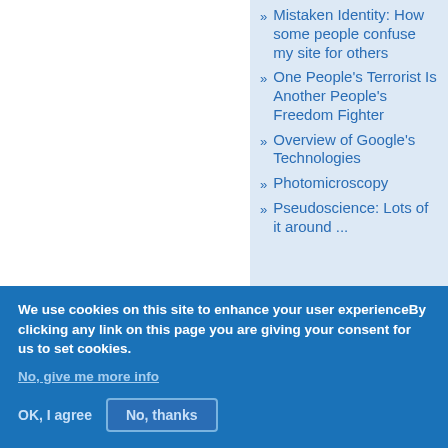Mistaken Identity: How some people confuse my site for others
One People's Terrorist Is Another People's Freedom Fighter
Overview of Google's Technologies
Photomicroscopy
Pseudoscience: Lots of it around ...
We use cookies on this site to enhance your user experienceBy clicking any link on this page you are giving your consent for us to set cookies.
No, give me more info
OK, I agree
No, thanks